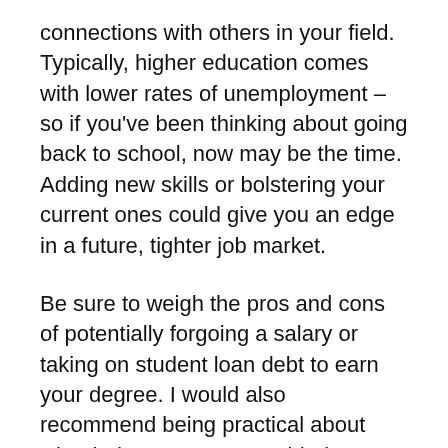connections with others in your field. Typically, higher education comes with lower rates of unemployment – so if you've been thinking about going back to school, now may be the time. Adding new skills or bolstering your current ones could give you an edge in a future, tighter job market.
Be sure to weigh the pros and cons of potentially forgoing a salary or taking on student loan debt to earn your degree. I would also recommend being practical about what industry you're considering. No job is completely protected from recessions, but certain industries are safer from cuts.
What Is A Recession?